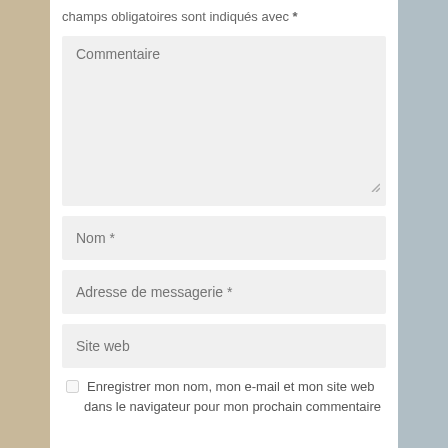champs obligatoires sont indiqués avec *
Commentaire
Nom *
Adresse de messagerie *
Site web
Enregistrer mon nom, mon e-mail et mon site web dans le navigateur pour mon prochain commentaire